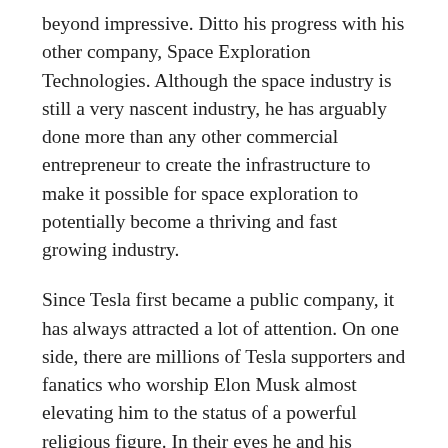beyond impressive. Ditto his progress with his other company, Space Exploration Technologies. Although the space industry is still a very nascent industry, he has arguably done more than any other commercial entrepreneur to create the infrastructure to make it possible for space exploration to potentially become a thriving and fast growing industry.
Since Tesla first became a public company, it has always attracted a lot of attention. On one side, there are millions of Tesla supporters and fanatics who worship Elon Musk almost elevating him to the status of a powerful religious figure. In their eyes he and his companies can do no wrong. Then on the other side, you have a group of sceptics. The most extreme contingent of this group are full-on haters who intensely dislike Musk and everything he stands for. Where the most passionate supporters see Musk and his companies as the future – the most powerful